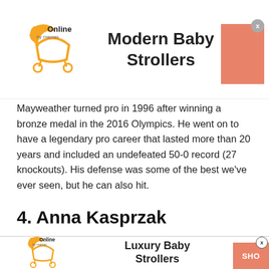[Figure (logo): TAY Online by mamas logo with stroller icon, top banner ad for Modern Baby Strollers]
Modern Baby Strollers
Mayweather turned pro in 1996 after winning a bronze medal in the 2016 Olympics. He went on to have a legendary pro career that lasted more than 20 years and included an undefeated 50-0 record (27 knockouts). His defense was some of the best we've ever seen, but he can also hit.
4. Anna Kasprzak
[Figure (logo): TAY Online by mamas logo with stroller icon, bottom banner ad for Luxury Baby Strollers with SHOP button]
Luxury Baby Strollers